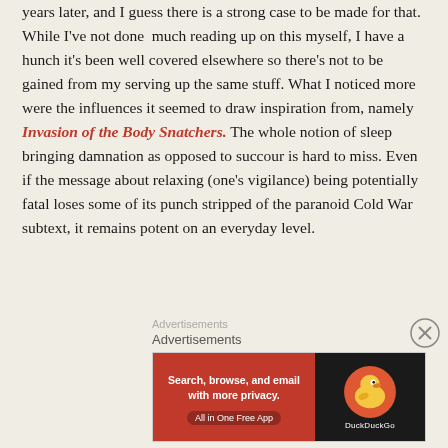movie had a big influence on Alien, which came out 22 years later, and I guess there is a strong case to be made for that. While I've not done much reading up on this myself, I have a hunch it's been well covered elsewhere so there's not to be gained from my serving up the same stuff. What I noticed more were the influences it seemed to draw inspiration from, namely Invasion of the Body Snatchers. The whole notion of sleep bringing damnation as opposed to succour is hard to miss. Even if the message about relaxing (one's vigilance) being potentially fatal loses some of its punch stripped of the paranoid Cold War subtext, it remains potent on an everyday level.
[Figure (other): DuckDuckGo advertisement banner with orange-red left panel reading 'Search, browse, and email with more privacy. All in One Free App' and black right panel with DuckDuckGo logo and text.]